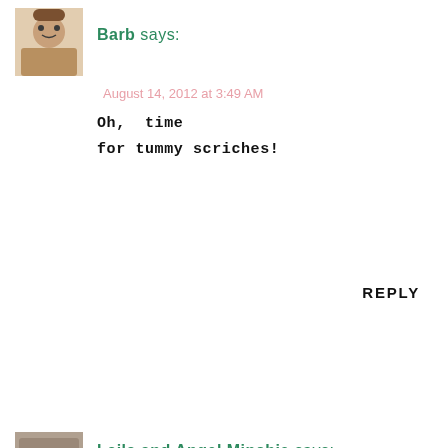Barb says:
August 14, 2012 at 3:49 AM
Oh, time for tummy scriches!
REPLY
Laila and Angel Minchie says:
August 14, 2012 at 8:49 AM
Truffle, your floofy tummy literally took Mom Peggy's breath away!
REPLY